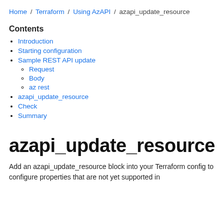Home / Terraform / Using AzAPI / azapi_update_resource
Contents
Introduction
Starting configuration
Sample REST API update
Request
Body
az rest
azapi_update_resource
Check
Summary
azapi_update_resource
Add an azapi_update_resource block into your Terraform config to configure properties that are not yet supported in